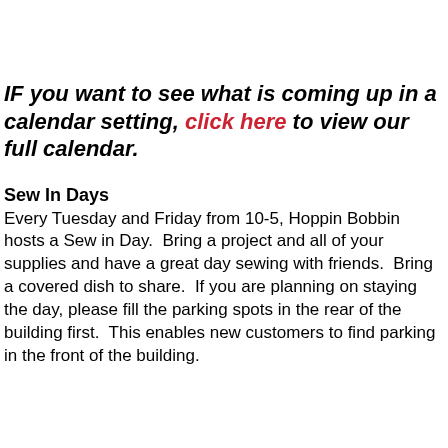IF you want to see what is coming up in a calendar setting, click here to view our full calendar.
Sew In Days
Every Tuesday and Friday from 10-5, Hoppin Bobbin hosts a Sew in Day.  Bring a project and all of your supplies and have a great day sewing with friends.  Bring a covered dish to share.  If you are planning on staying the day, please fill the parking spots in the rear of the building first.  This enables new customers to find parking in the front of the building.